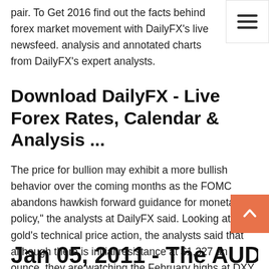pair. To Get 2016 find out the facts behind forex market movement with DailyFX's live newsfeed. analysis and annotated charts from DailyFX's expert analysts.
Download DailyFX - Live Forex Rates, Calendar & Analysis ...
The price for bullion may exhibit a more bullish behavior over the coming months as the FOMC abandons hawkish forward guidance for monetary policy," the analysts at DailyFX said. Looking at gold's technical price action, the analysts said that although there is initial resistance at $1,327 an ounce, they are watching the February highs at DXY | U.S. Dollar Index (DXY) Advanced Charts | MarketWatch U.S. Dollar Index (DXY) advanced index charts by MarketWatch. View real-time DXY index data and compare to other exchanges and stocks.
Jan 05, 2011 - The AUD/USD